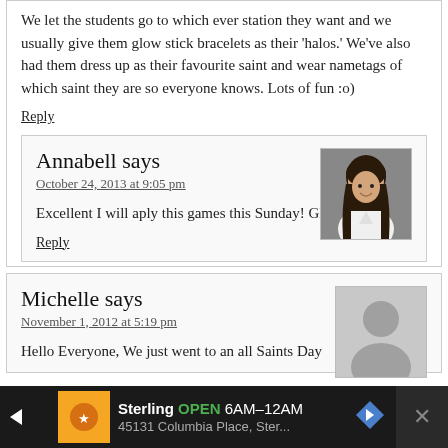We let the students go to which ever station they want and we usually give them glow stick bracelets as their 'halos.' We've also had them dress up as their favourite saint and wear nametags of which saint they are so everyone knows. Lots of fun :o)
Reply
Annabell says
October 24, 2013 at 9:05 pm
Excellent I will aply this games this Sunday! GBU
Reply
Michelle says
November 1, 2012 at 5:19 pm
Hello Everyone, We just went to an all Saints Day